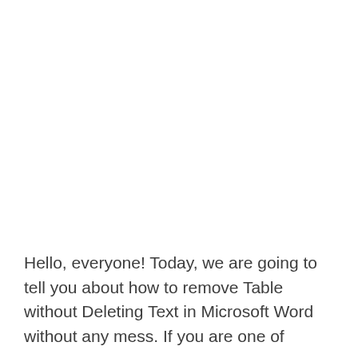Hello, everyone! Today, we are going to tell you about how to remove Table without Deleting Text in Microsoft Word without any mess. If you are one of